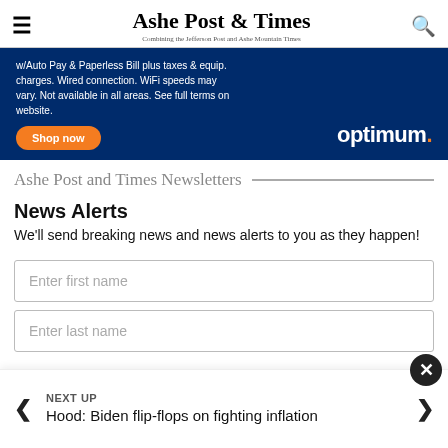Ashe Post & Times — Combining the Jefferson Post and Ashe Mountain Times
[Figure (infographic): Optimum advertisement banner with dark blue background. Text: 'w/Auto Pay & Paperless Bill plus taxes & equip. charges. Wired connection. WiFi speeds may vary. Not available in all areas. See full terms on website.' Orange 'Shop now' button and Optimum logo with orange period.]
Ashe Post and Times Newsletters
News Alerts
We'll send breaking news and news alerts to you as they happen!
Enter first name
Enter last name
NEXT UP
Hood: Biden flip-flops on fighting inflation